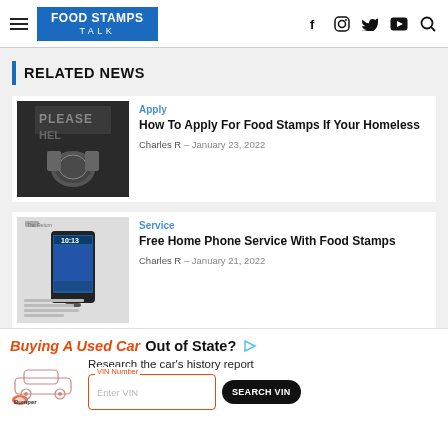FOOD STAMPS TALK — f [icon] [icon] [icon] [search icon]
RELATED NEWS
[Figure (photo): Person holding bowl with 'Please Help' sign in background]
Apply
How To Apply For Food Stamps If Your Homeless
Charles R  –  January 23, 2022
[Figure (screenshot): Screenshot of article with phone image showing time 10:13]
Service
Free Home Phone Service With Food Stamps
Charles R  –  January 21, 2022
[Figure (infographic): Advertisement: Buying A Used Car Out of State? Research the car history report. Bumper VIN search ad.]